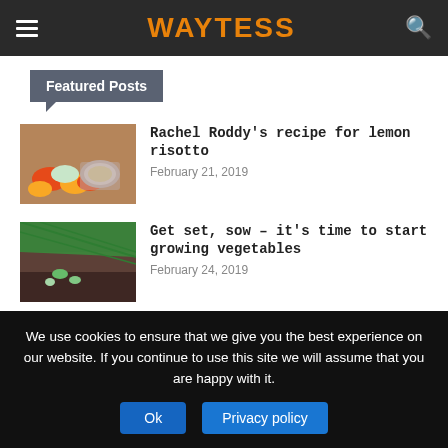WAYTESS
Featured Posts
Rachel Roddy’s recipe for lemon risotto
February 21, 2019
[Figure (photo): Photo of vegetables and a bowl of risotto]
Get set, sow – it’s time to start growing vegetables
February 24, 2019
[Figure (photo): Photo of plant seedlings growing in soil under a green net]
Surprising Dating Advice for Finding
[Figure (photo): Partially visible photo at the bottom]
We use cookies to ensure that we give you the best experience on our website. If you continue to use this site we will assume that you are happy with it.